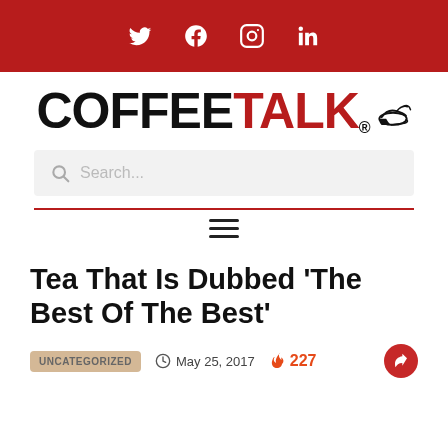Social media icons: Twitter, Facebook, Instagram, LinkedIn
[Figure (logo): CoffeeTalk magazine logo — COFFEE in black bold, TALK in red bold, with registered trademark symbol and a small decorative bird/wing illustration]
Search...
[Figure (other): Hamburger menu icon (three horizontal lines)]
Tea That Is Dubbed 'The Best Of The Best'
UNCATEGORIZED   May 25, 2017   227